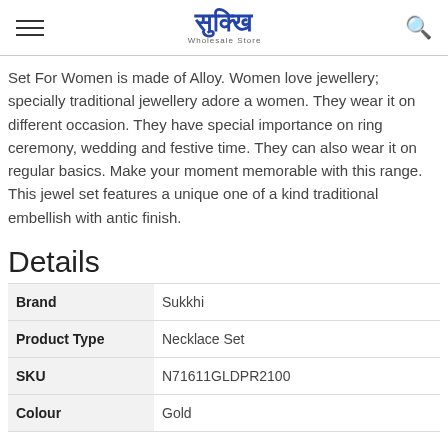Sukkhi Wholesale Store
Set For Women is made of Alloy. Women love jewellery; specially traditional jewellery adore a women. They wear it on different occasion. They have special importance on ring ceremony, wedding and festive time. They can also wear it on regular basics. Make your moment memorable with this range. This jewel set features a unique one of a kind traditional embellish with antic finish.
Details
|  |  |
| --- | --- |
| Brand | Sukkhi |
| Product Type | Necklace Set |
| SKU | N71611GLDPR2100 |
| Colour | Gold |